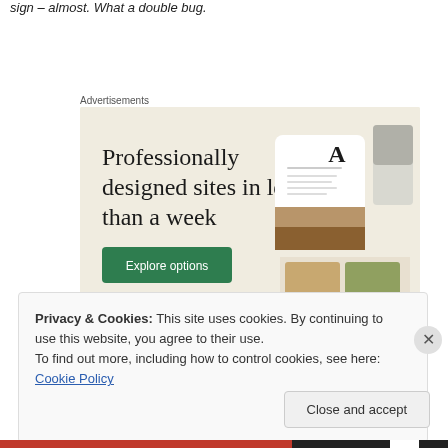sign – almost. What a double bug.
Advertisements
[Figure (illustration): Advertisement banner with beige background. Large serif text reads 'Professionally designed sites in less than a week'. Green 'Explore options' button on left. Right side shows simulated website screenshot mockups including a card with letter A and food imagery.]
Privacy & Cookies: This site uses cookies. By continuing to use this website, you agree to their use.
To find out more, including how to control cookies, see here: Cookie Policy
Close and accept